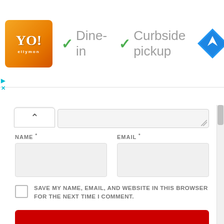[Figure (screenshot): Top bar with orange restaurant logo, dine-in and curbside pickup service icons with checkmarks, and a blue navigation diamond icon]
✓ Dine-in  ✓ Curbside pickup
NAME *
EMAIL *
SAVE MY NAME, EMAIL, AND WEBSITE IN THIS BROWSER FOR THE NEXT TIME I COMMENT.
Post Comment